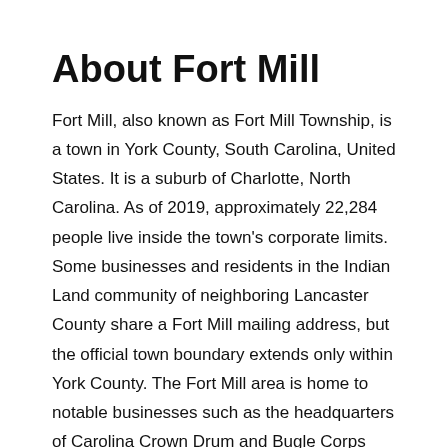About Fort Mill
Fort Mill, also known as Fort Mill Township, is a town in York County, South Carolina, United States. It is a suburb of Charlotte, North Carolina. As of 2019, approximately 22,284 people live inside the town's corporate limits. Some businesses and residents in the Indian Land community of neighboring Lancaster County share a Fort Mill mailing address, but the official town boundary extends only within York County. The Fort Mill area is home to notable businesses such as the headquarters of Carolina Crown Drum and Bugle Corps (who were DCI World Champions in 2013), LPL Financial, Continental Tire the Americas